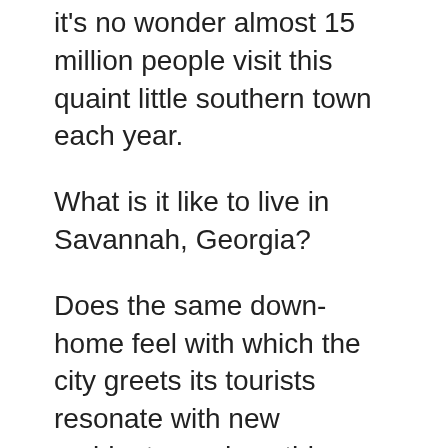it's no wonder almost 15 million people visit this quaint little southern town each year.
What is it like to live in Savannah, Georgia?
Does the same down-home feel with which the city greets its tourists resonate with new residents, or does this glittering jewel of the South lose its luster?
We will cover some of the best reasons to call Savannah, Georgia home, along with some examples that may have you turning in another direction.